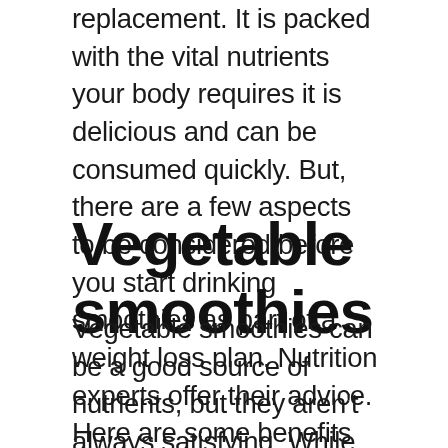replacement. It is packed with the vital nutrients your body requires it is delicious and can be consumed quickly. But, there are a few aspects to be considered before you start drinking smoothies as part of a weight loss plan. Nutrition experts offer their advice. Here are some benefits of smoothies in a diet.
Vegetable smoothies
Vegetable smoothies can be a good source of nutrients, but they aren't always satisfying. While eating a full meal is healthier, drinking it isn't always satisfying. To avoid eating too much you must weigh the ingredients prior to adding them into the blender. Make sure you use the recipe for a